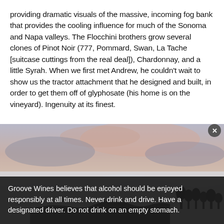providing dramatic visuals of the massive, incoming fog bank that provides the cooling influence for much of the Sonoma and Napa valleys. The Flocchini brothers grow several clones of Pinot Noir (777, Pommard, Swan, La Tache [suitcase cuttings from the real deal]), Chardonnay, and a little Syrah. When we first met Andrew, he couldn't wait to show us the tractor attachment that he designed and built, in order to get them off of glyphosate (his home is on the vineyard). Ingenuity at its finest.
[Figure (photo): Aerial or elevated view of a massive incoming fog bank rolling over hills and valleys, with pink and grey sky above and low-lying fog obscuring the landscape below.]
Groove Wines believes that alcohol should be enjoyed responsibly at all times. Never drink and drive. Have a designated driver. Do not drink on an empty stomach.